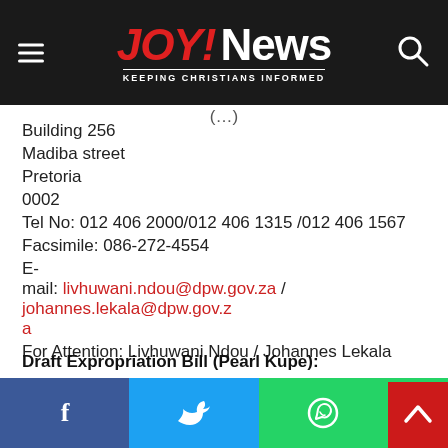JOY! News — Keeping Christians Informed
Building 256
Madiba street
Pretoria
0002
Tel No: 012 406 2000/012 406 1315 /012 406 1567
Facsimile: 086-272-4554
E-mail: livhuwani.ndou@dpw.gov.za / johannes.lekala@dpw.gov.za
For Attention: Livhuwani Ndou / Johannes Lekala
Draft Expropriation Bill (Pearl Kupe):
Facebook / Twitter / WhatsApp social share bar